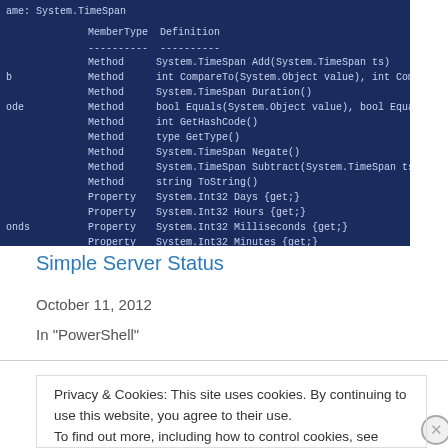[Figure (screenshot): PowerShell terminal showing System.TimeSpan member types, definitions including Methods and Properties such as Add, CompareTo, Duration, Equals, GetHashCode, GetType, Negate, Subtract, ToString, Days, Hours, Milliseconds, Minutes, Seconds, Ticks, TotalDays, TotalHours, TotalMilliseconds, TotalMinutes, TotalSeconds]
Simple Server Status
October 11, 2012
In "PowerShell"
Privacy & Cookies: This site uses cookies. By continuing to use this website, you agree to their use.
To find out more, including how to control cookies, see here: Cookie Policy